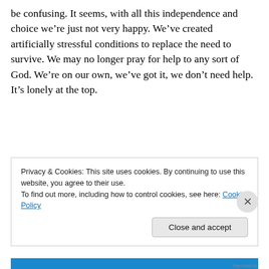be confusing. It seems, with all this independence and choice we're just not very happy. We've created artificially stressful conditions to replace the need to survive. We may no longer pray for help to any sort of God. We're on our own, we've got it, we don't need help. It's lonely at the top.
Privacy & Cookies: This site uses cookies. By continuing to use this website, you agree to their use.
To find out more, including how to control cookies, see here: Cookie Policy
Close and accept